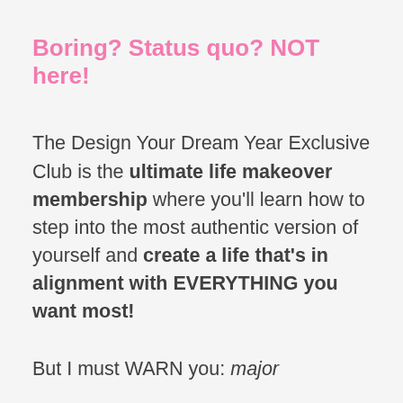Boring? Status quo? NOT here!
The Design Your Dream Year Exclusive Club is the ultimate life makeover membership where you'll learn how to step into the most authentic version of yourself and create a life that's in alignment with EVERYTHING you want most!
But I must WARN you: major